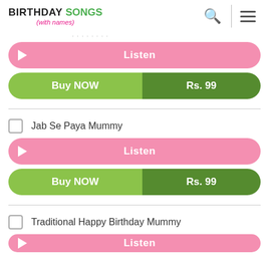BIRTHDAY SONGS (with names)
...
Listen
Buy NOW  Rs. 99
Jab Se Paya Mummy
Listen
Buy NOW  Rs. 99
Traditional Happy Birthday Mummy